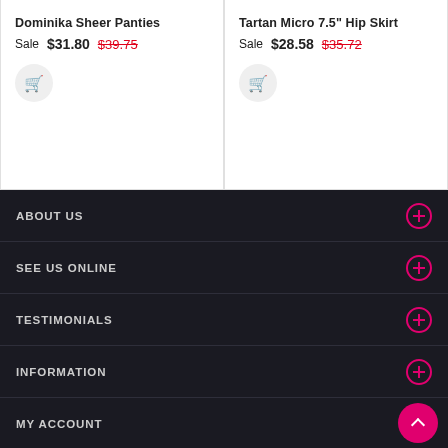Dominika Sheer Panties — Sale $31.80  $39.75
Tartan Micro 7.5" Hip Skirt — Sale $28.58  $35.72
ABOUT US
SEE US ONLINE
TESTIMONIALS
INFORMATION
MY ACCOUNT